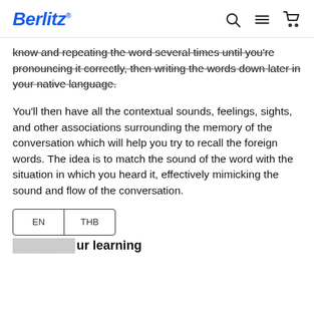Berlitz
know and repeating the word several times until you're pronouncing it correctly, then writing the words down later in your native language.
You'll then have all the contextual sounds, feelings, sights, and other associations surrounding the memory of the conversation which will help you try to recall the foreign words. The idea is to match the sound of the word with the situation in which you heard it, effectively mimicking the sound and flow of the conversation.
EN | THB
…your learning